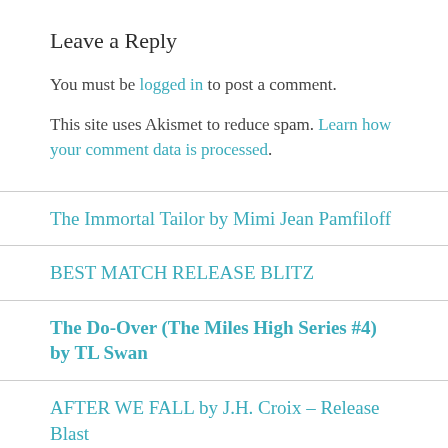Leave a Reply
You must be logged in to post a comment.
This site uses Akismet to reduce spam. Learn how your comment data is processed.
The Immortal Tailor by Mimi Jean Pamfiloff
BEST MATCH RELEASE BLITZ
The Do-Over (The Miles High Series #4) by TL Swan
AFTER WE FALL by J.H. Croix – Release Blast